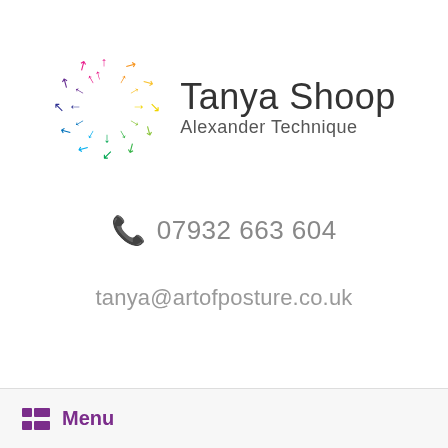[Figure (logo): Tanya Shoop Alexander Technique logo: colorful arrows arranged in a circle with brand name text]
📞 07932 663 604
tanya@artofposture.co.uk
Menu